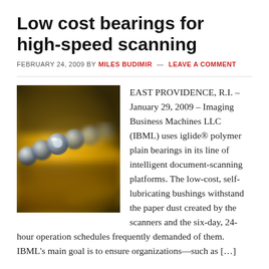Low cost bearings for high-speed scanning
FEBRUARY 24, 2009 BY MILES BUDIMIR — LEAVE A COMMENT
[Figure (photo): Close-up photograph of ball bearings or roller bearings, showing metallic and golden-colored components in a blurred, macro-style image.]
EAST PROVIDENCE, R.I. – January 29, 2009 – Imaging Business Machines LLC (IBML) uses iglide® polymer plain bearings in its line of intelligent document-scanning platforms. The low-cost, self-lubricating bushings withstand the paper dust created by the scanners and the six-day, 24-hour operation schedules frequently demanded of them. IBML's main goal is to ensure organizations—such as […]